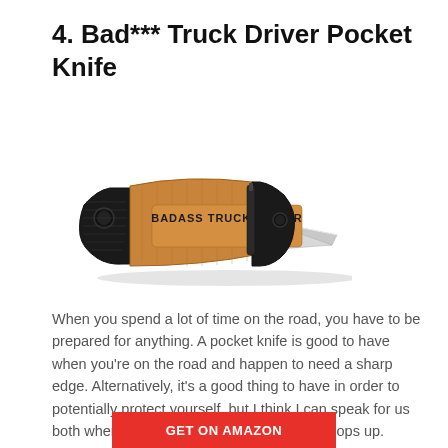4. Bad*** Truck Driver Pocket Knife
[Figure (photo): A pocket knife with a wooden handle engraved with 'BADASS TRUCK DRIVER' in bold black letters, with black polymer grip ends and a partially visible silver blade.]
When you spend a lot of time on the road, you have to be prepared for anything. A pocket knife is good to have when you're on the road and happen to need a sharp edge. Alternatively, it's a good thing to have in order to potentially protect yourself, but I think I can speak for us both when I say I hope that situation never pops up.